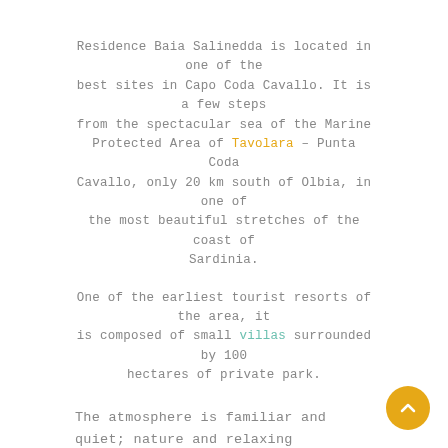Residence Baia Salinedda is located in one of the best sites in Capo Coda Cavallo. It is a few steps from the spectacular sea of the Marine Protected Area of Tavolara – Punta Coda Cavallo, only 20 km south of Olbia, in one of the most beautiful stretches of the coast of Sardinia.
One of the earliest tourist resorts of the area, it is composed of small villas surrounded by 100 hectares of private park.
The atmosphere is familiar and quiet; nature and relaxing ambience make it the ideal place for those looking for a restful stay, reconciling with the rhythms of nature.
The access road is private property and access is restricted to guests to safeguard privacy and hush.
Accommodation is possible in self